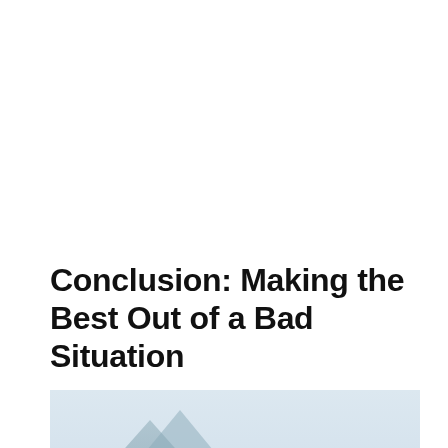Conclusion: Making the Best Out of a Bad Situation
[Figure (photo): A red warning triangle road safety sign placed on a road with blurred trees and a mountain in the background and a car with open hood visible behind it.]